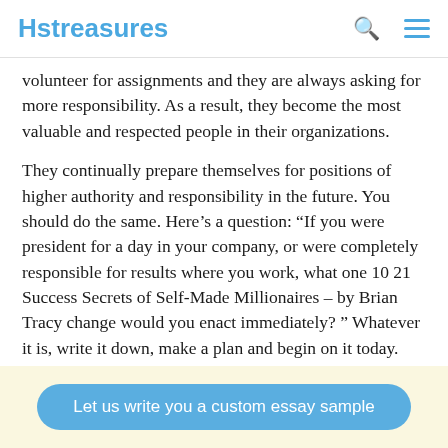Hstreasures
volunteer for assignments and they are always asking for more responsibility. As a result, they become the most valuable and respected people in their organizations.
They continually prepare themselves for positions of higher authority and responsibility in the future. You should do the same. Here’s a question: “If you were president for a day in your company, or were completely responsible for results where you work, what one 10 21 Success Secrets of Self-Made Millionaires – by Brian Tracy change would you enact immediately? ” Whatever it is, write it down, make a plan and begin on it today. This alone could change your life. Success secret number four do
Let us write you a custom essay sample